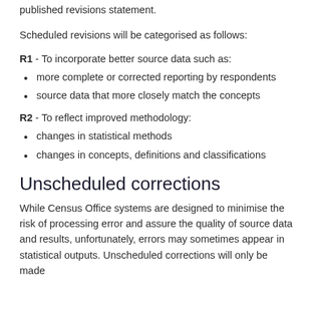published revisions statement.
Scheduled revisions will be categorised as follows:
R1 - To incorporate better source data such as:
more complete or corrected reporting by respondents
source data that more closely match the concepts
R2 - To reflect improved methodology:
changes in statistical methods
changes in concepts, definitions and classifications
Unscheduled corrections
While Census Office systems are designed to minimise the risk of processing error and assure the quality of source data and results, unfortunately, errors may sometimes appear in statistical outputs. Unscheduled corrections will only be made